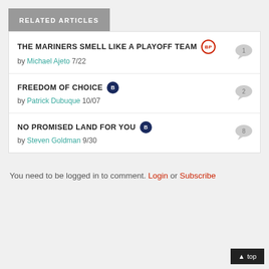RELATED ARTICLES
THE MARINERS SMELL LIKE A PLAYOFF TEAM [BP] by Michael Ajeto 7/22 [1 comment]
FREEDOM OF CHOICE [B] by Patrick Dubuque 10/07 [2 comments]
NO PROMISED LAND FOR YOU [B] by Steven Goldman 9/30 [8 comments]
You need to be logged in to comment. Login or Subscribe